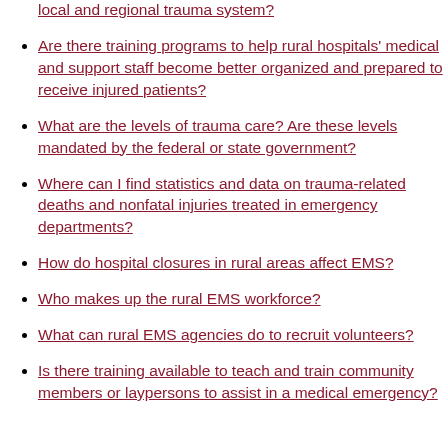local and regional trauma system?
Are there training programs to help rural hospitals' medical and support staff become better organized and prepared to receive injured patients?
What are the levels of trauma care? Are these levels mandated by the federal or state government?
Where can I find statistics and data on trauma-related deaths and nonfatal injuries treated in emergency departments?
How do hospital closures in rural areas affect EMS?
Who makes up the rural EMS workforce?
What can rural EMS agencies do to recruit volunteers?
Is there training available to teach and train community members or laypersons to assist in a medical emergency?